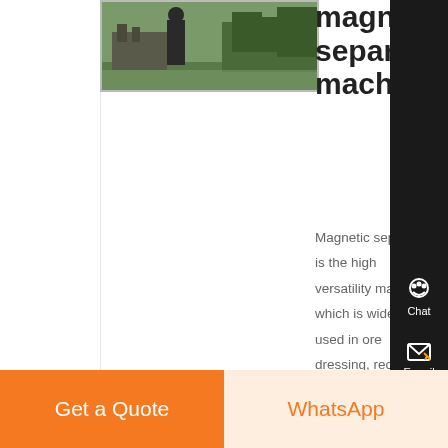[Figure (photo): Photo of magnetic separator machine in outdoor industrial setting, partially visible]
magnetic separator machine
Magnetic separator is the high versatility machine which is widely used in ore dressing, recycling, ceramic, chemical industry The main function is remove iron from powder material Magnetic separator
Chat
E-mail
Top
Get a Quote
WhatsApp